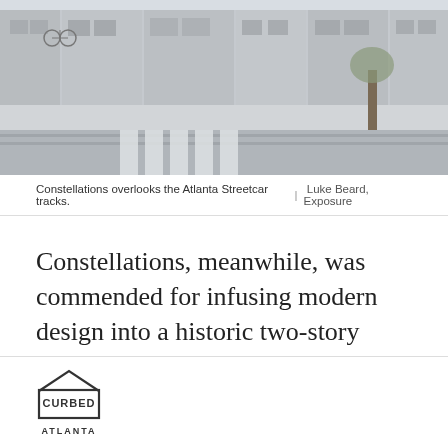[Figure (photo): Street-level photograph of a city block showing Atlanta Streetcar tracks on the road, crosswalk stripes, a tree on the sidewalk, and storefront buildings in the background.]
Constellations overlooks the Atlanta Streetcar tracks. | Luke Beard, Exposure
Constellations, meanwhile, was commended for infusing modern design into a historic two-story structure on Auburn Avenue.
[Figure (logo): Curbed Atlanta logo — a house-shaped outline with the word CURBED inside and ATLANTA below.]